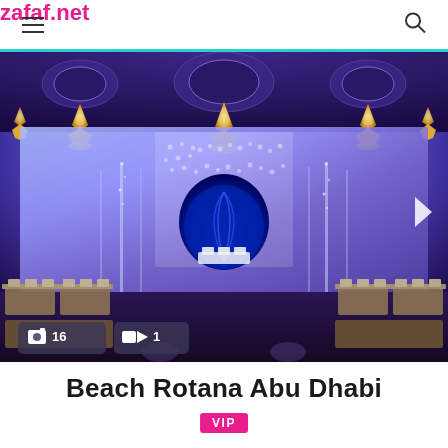zafaf.net
[Figure (photo): Elegant wedding ballroom with blue and purple lighting, crystal chandeliers, a floral arch stage backdrop with a blue shell motif, white reflective aisle, and gold dining tables on both sides]
Beach Rotana Abu Dhabi
VIP